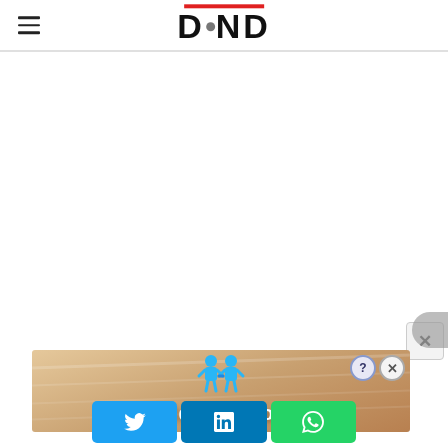DND
[Figure (screenshot): White blank main content area of a news website]
[Figure (screenshot): Close X button in light gray rounded box]
[Figure (screenshot): Ad banner for 'Hold and Move' game with two blue cartoon figures on a wooden lane background, with help and close buttons]
[Figure (screenshot): Social share buttons: Twitter (blue bird), LinkedIn (blue 'in'), WhatsApp (green phone icon)]